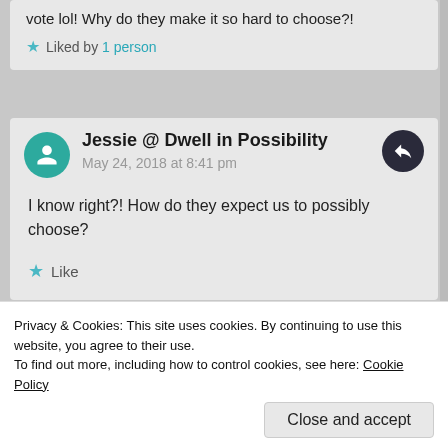vote lol! Why do they make it so hard to choose?!
★ Liked by 1 person
Jessie @ Dwell in Possibility
May 24, 2018 at 8:41 pm
I know right?! How do they expect us to possibly choose?
★ Like
Privacy & Cookies: This site uses cookies. By continuing to use this website, you agree to their use.
To find out more, including how to control cookies, see here: Cookie Policy
Close and accept